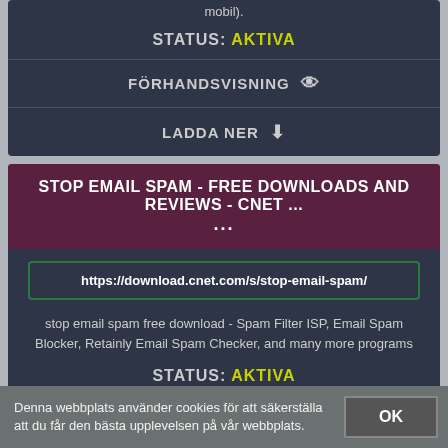mobil).
STATUS: AKTIVA
FÖRHANDSVISNING 👁
LADDA NER ⬇
STOP EMAIL SPAM - FREE DOWNLOADS AND REVIEWS - CNET ...
https://download.cnet.com/s/stop-email-spam/
stop email spam free download - Spam Filter ISP, Email Spam Blocker, Retainly Email Spam Checker, and many more programs
STATUS: AKTIVA
Denna webbplats använder cookies för att säkerställa att du får den bästa upplevelsen på vår webbplats.